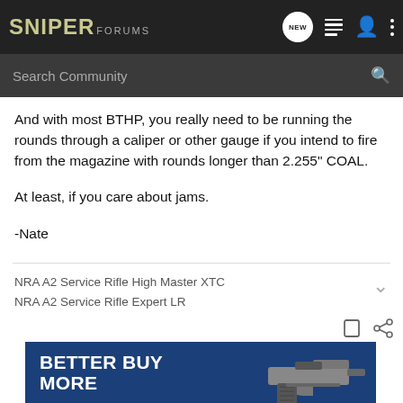SNIPER FORUMS
And with most BTHP, you really need to be running the rounds through a caliper or other gauge if you intend to fire from the magazine with rounds longer than 2.255" COAL.
At least, if you care about jams.
-Nate
NRA A2 Service Rifle High Master XTC
NRA A2 Service Rifle Expert LR
[Figure (infographic): BETTER BUY MORE advertisement banner with image of a firearm on dark blue background]